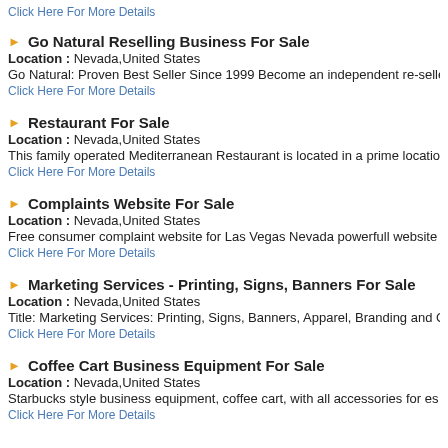Click Here For More Details
Go Natural Reselling Business For Sale
Location : Nevada,United States
Go Natural: Proven Best Seller Since 1999 Become an independent re-selle
Click Here For More Details
Restaurant For Sale
Location : Nevada,United States
This family operated Mediterranean Restaurant is located in a prime locatio
Click Here For More Details
Complaints Website For Sale
Location : Nevada,United States
Free consumer complaint website for Las Vegas Nevada powerfull website
Click Here For More Details
Marketing Services - Printing, Signs, Banners For Sale
Location : Nevada,United States
Title: Marketing Services: Printing, Signs, Banners, Apparel, Branding and C
Click Here For More Details
Coffee Cart Business Equipment For Sale
Location : Nevada,United States
Starbucks style business equipment, coffee cart, with all accessories for es
Click Here For More Details